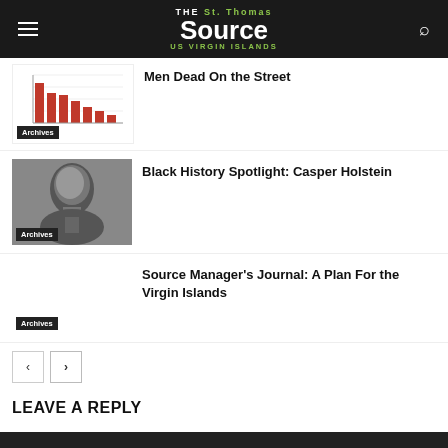The St. Thomas Source — US Virgin Islands
Men Dead On the Street
[Figure (photo): Thumbnail with bar chart showing declining red bars, labeled Archives]
Black History Spotlight: Casper Holstein
[Figure (photo): Black and white portrait of a man, labeled Archives]
Source Manager's Journal: A Plan For the Virgin Islands
[Figure (photo): Empty thumbnail labeled Archives]
< navigation buttons >
LEAVE A REPLY